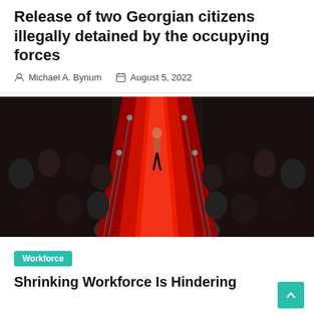Release of two Georgian citizens illegally detained by the occupying forces
Michael A. Bynum   August 5, 2022
[Figure (photo): Aerial view of a person walking down a red carpet flanked by velvet ropes and stanchions, surrounded by a large crowd of spectators in a large hall.]
Workforce
Shrinking Workforce Is Hindering...